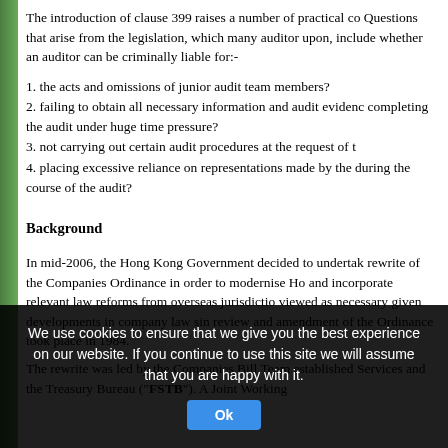The introduction of clause 399 raises a number of practical concerns. Questions that arise from the legislation, which many auditors are called upon, include whether an auditor can be criminally liable for:-
1. the acts and omissions of junior audit team members?
2. failing to obtain all necessary information and audit evidence when completing the audit under huge time pressure?
3. not carrying out certain audit procedures at the request of the client?
4. placing excessive reliance on representations made by the management during the course of the audit?
Background
In mid-2006, the Hong Kong Government decided to undertake a comprehensive rewrite of the Companies Ordinance in order to modernise Hong Kong law and incorporate relevant law reforms from overseas jurisdictions. This was viewed as necessary given developments in company law since the last major review and amendment of the Ordinance took place in 1984.
The rewrite was led by the Companies Bill Team established within the Financial Services and the Treasury Bureau (“FSTB”). A Joint Working
We use cookies to ensure that we give you the best experience on our website. If you continue to use this site we will assume that you are happy with it.